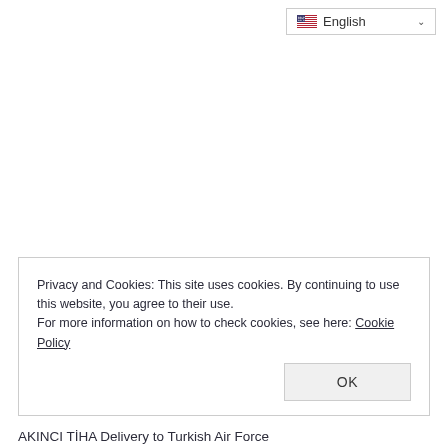[Figure (screenshot): Language selector UI element showing a US flag icon, the text 'English', and a dropdown chevron, positioned in the upper right of the page.]
Privacy and Cookies: This site uses cookies. By continuing to use this website, you agree to their use.
For more information on how to check cookies, see here: Cookie Policy
OK
AKINCI TİHA Delivery to Turkish Air Force